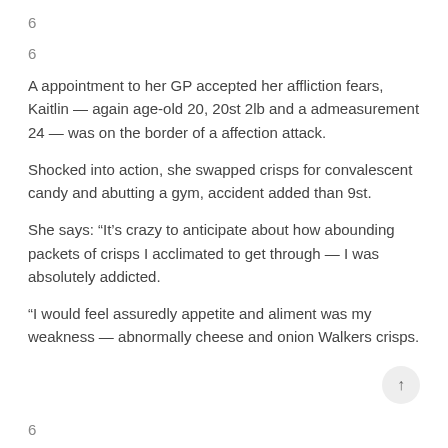6
6
A appointment to her GP accepted her affliction fears, Kaitlin — again age-old 20, 20st 2lb and a admeasurement 24 — was on the border of a affection attack.
Shocked into action, she swapped crisps for convalescent candy and abutting a gym, accident added than 9st.
She says: “It’s crazy to anticipate about how abounding packets of crisps I acclimated to get through — I was absolutely addicted.
“I would feel assuredly appetite and aliment was my weakness — abnormally cheese and onion Walkers crisps.
6